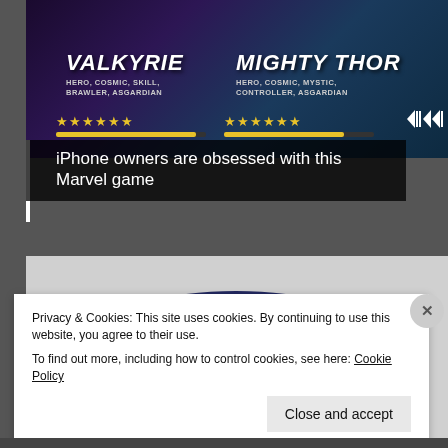[Figure (screenshot): Marvel game advertisement banner showing Valkyrie and Mighty Thor characters with star ratings and progress bars]
iPhone owners are obsessed with this Marvel game
[Figure (photo): Dark navy blue ergonomic seat cushion product photo on gray background]
Privacy & Cookies: This site uses cookies. By continuing to use this website, you agree to their use.
To find out more, including how to control cookies, see here: Cookie Policy
Close and accept